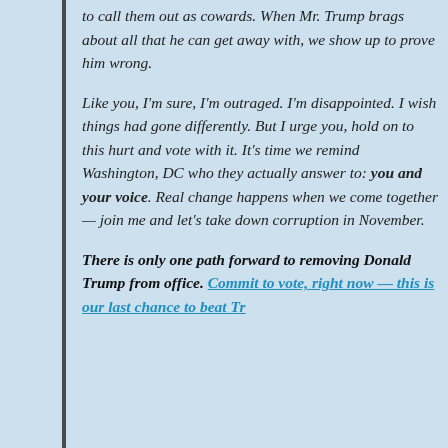to call them out as cowards. When Mr. Trump brags about all that he can get away with, we show up to prove him wrong.
Like you, I'm sure, I'm outraged. I'm disappointed. I wish things had gone differently. But I urge you, hold on to this hurt and vote with it. It's time we remind Washington, DC who they actually answer to: you and your voice. Real change happens when we come together — join me and let's take down corruption in November.
There is only one path forward to removing Donald Trump from office. Commit to vote, right now — this is our last chance to beat Trump. We can't afford to miss it.